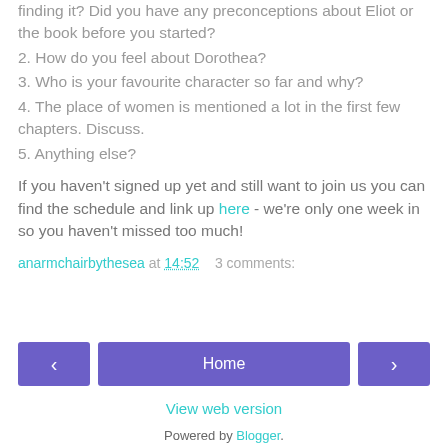finding it? Did you have any preconceptions about Eliot or the book before you started?
2. How do you feel about Dorothea?
3. Who is your favourite character so far and why?
4. The place of women is mentioned a lot in the first few chapters. Discuss.
5. Anything else?
If you haven't signed up yet and still want to join us you can find the schedule and link up here - we're only one week in so you haven't missed too much!
anarmchairbythesea at 14:52   3 comments:
Home
View web version
Powered by Blogger.